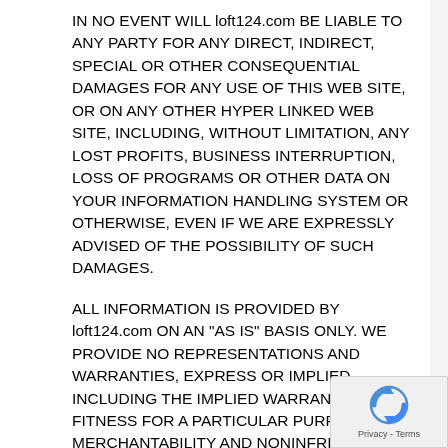IN NO EVENT WILL loft124.com BE LIABLE TO ANY PARTY FOR ANY DIRECT, INDIRECT, SPECIAL OR OTHER CONSEQUENTIAL DAMAGES FOR ANY USE OF THIS WEB SITE, OR ON ANY OTHER HYPER LINKED WEB SITE, INCLUDING, WITHOUT LIMITATION, ANY LOST PROFITS, BUSINESS INTERRUPTION, LOSS OF PROGRAMS OR OTHER DATA ON YOUR INFORMATION HANDLING SYSTEM OR OTHERWISE, EVEN IF WE ARE EXPRESSLY ADVISED OF THE POSSIBILITY OF SUCH DAMAGES.
ALL INFORMATION IS PROVIDED BY loft124.com ON AN "AS IS" BASIS ONLY. WE PROVIDE NO REPRESENTATIONS AND WARRANTIES, EXPRESS OR IMPLIED, INCLUDING THE IMPLIED WARRANTIES OF FITNESS FOR A PARTICULAR PURPOSE, MERCHANTABILITY AND NONINFRINGEMENT.
[Figure (logo): reCAPTCHA badge with Google reCAPTCHA logo and Privacy - Terms text]